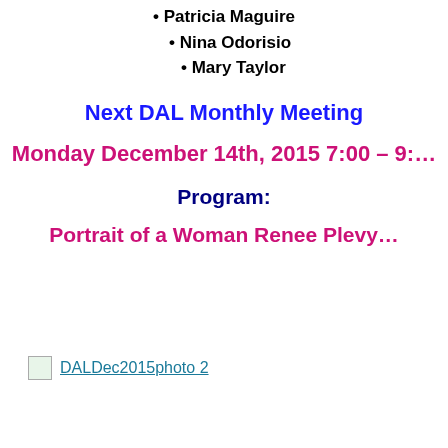• Patricia Maguire
• Nina Odorisio
• Mary Taylor
Next DAL Monthly Meeting
Monday December 14th, 2015 7:00 – 9:…
Program:
Portrait of a Woman Renee Plevy…
[Figure (photo): Broken image icon with link text 'DALDec2015photo 2']